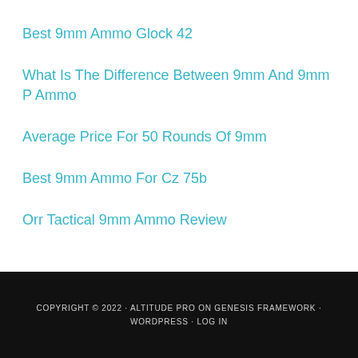Best 9mm Ammo Glock 42
What Is The Difference Between 9mm And 9mm P Ammo
Average Price For 50 Rounds Of 9mm
Best 9mm Ammo For Cz 75b
Orr Tactical 9mm Ammo Review
COPYRIGHT © 2022 · ALTITUDE PRO ON GENESIS FRAMEWORK · WORDPRESS · LOG IN